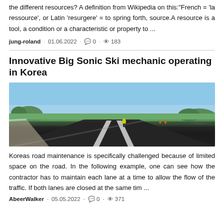the different resources? A definition from Wikipedia on this:"French = 'la ressource', or Latin 'resurgere' = to spring forth, source.A resource is a tool, a condition or a characteristic or property to ...
jung-roland · 01.06.2022 · 0 · 183
Innovative Big Sonic Ski mechanic operating in Korea
[Figure (photo): A road or race track viewed from ground level, showing asphalt lanes with a green and white curb on the left, a blue sky with light clouds above, green hills in the background, and figures/cones on the track.]
Koreas road maintenance is specifically challenged because of limited space on the road. In the following example, one can see how the contractor has to maintain each lane at a time to allow the flow of the traffic. If both lanes are closed at the same tim ...
AbeerWalker · 05.05.2022 · 0 · 371